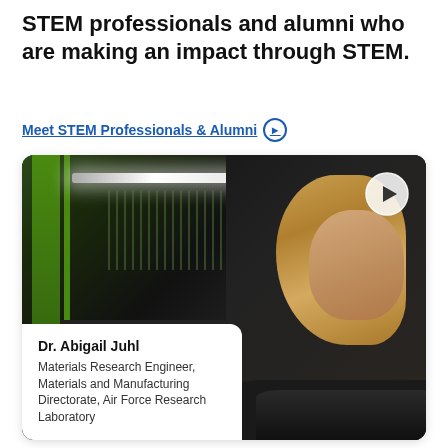STEM professionals and alumni who are making an impact through STEM.
Meet STEM Professionals & Alumni →
[Figure (photo): A woman with blonde hair working at a laboratory workstation with industrial equipment, green structural frame, cables, and overhead lighting. A video play button is overlaid in the top right corner.]
Dr. Abigail Juhl
Materials Research Engineer, Materials and Manufacturing Directorate, Air Force Research Laboratory